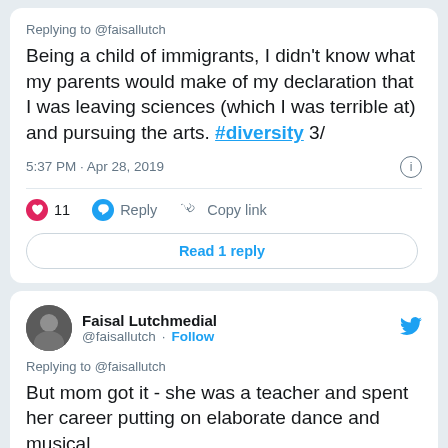Replying to @faisallutch
Being a child of immigrants, I didn't know what my parents would make of my declaration that I was leaving sciences (which I was terrible at) and pursuing the arts. #diversity 3/
5:37 PM · Apr 28, 2019
11 Reply Copy link
Read 1 reply
Faisal Lutchmedial @faisallutch · Follow
Replying to @faisallutch
But mom got it - she was a teacher and spent her career putting on elaborate dance and musical